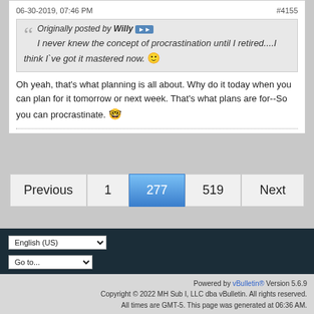06-30-2019, 07:46 PM
#4155
Originally posted by Willy
I never knew the concept of procrastination until I retired....I think I`ve got it mastered now.
Oh yeah, that's what planning is all about. Why do it today when you can plan for it tomorrow or next week. That's what plans are for--So you can procrastinate.
Previous 1 277 519 Next
English (US)
Go to...
Powered by vBulletin® Version 5.6.9
Copyright © 2022 MH Sub I, LLC dba vBulletin. All rights reserved.
All times are GMT-5. This page was generated at 06:36 AM.